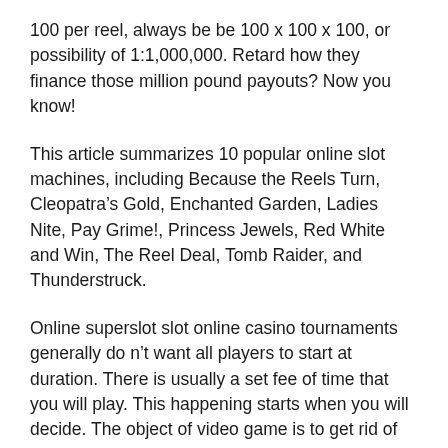100 per reel, always be be 100 x 100 x 100, or possibility of 1:1,000,000. Retard how they finance those million pound payouts? Now you know!
This article summarizes 10 popular online slot machines, including Because the Reels Turn, Cleopatra's Gold, Enchanted Garden, Ladies Nite, Pay Grime!, Princess Jewels, Red White and Win, The Reel Deal, Tomb Raider, and Thunderstruck.
Online superslot slot online casino tournaments generally do n't want all players to start at duration. There is usually a set fee of time that you will play. This happening starts when you will decide. The object of video game is to get rid of with more credits than any other participant. You are entitled to stop playing any moment. Most tournaments have a frontrunner board to